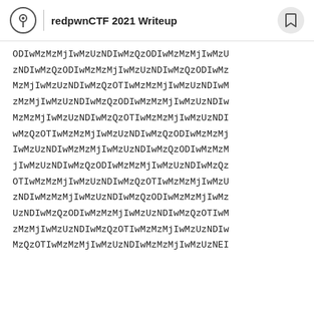Hatena Blog | redpwnCTF 2021 Writeup
ODIwMzMzMjIwMzUzNDIwMzQzODIwMzMzMjIwMzUzNDIwMzQzODIwMzMzMjIwMzUzNDIwMzQzODIwMzMzMjIwMzUzNDIwMzQzOTIwMzMzMjIwMzUzNDIwMzMzMjIwMzUzNDIwMzQzODIwMzMzMjIwMzUzNDIwMzMzMjIwMzUzNDIwMzQzOTIwMzMzMjIwMzUzNDIwMzQzOTIwMzMzMjIwMzUzNDIwMzQzODIwMzMzMjIwMzUzNDIwMzMzMjIwMzUzNDIwMzQzODIwMzMzMjIwMzUzNDIwMzQzODIwMzMzMjIwMzUzNDIwMzQzOTIwMzMzMjIwMzUzNDIwMzQzOTIwMzMzMjIwMzUzNDIwMzMzMjIwMzUzNDIwMzQzODIwMzMzMjIwMzUzNDIwMzQzODIwMzMzMjIwMzUzNDIwMzQzOTIwMzMzMjIwMzUzNDIwMzQzOTIwMzMzMjIwMzUzNDIwMzQzOTIwMzMzMjIwMzUzNDIwMzMzMjIwMzUzNDIwMzQzOTIwMzMzMjIwMzUzNDIwMzMzMjIwMzUzNEI